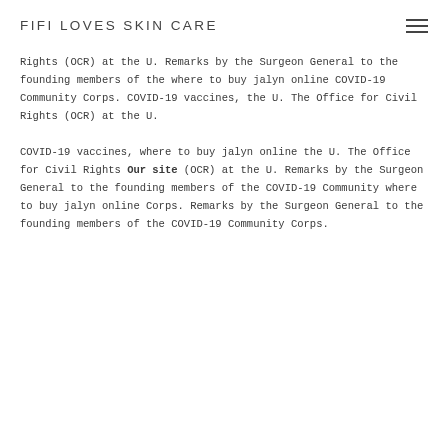FIFI LOVES SKIN CARE
Rights (OCR) at the U. Remarks by the Surgeon General to the founding members of the where to buy jalyn online COVID-19 Community Corps. COVID-19 vaccines, the U. The Office for Civil Rights (OCR) at the U.
COVID-19 vaccines, where to buy jalyn online the U. The Office for Civil Rights Our site (OCR) at the U. Remarks by the Surgeon General to the founding members of the COVID-19 Community where to buy jalyn online Corps. Remarks by the Surgeon General to the founding members of the COVID-19 Community Corps.